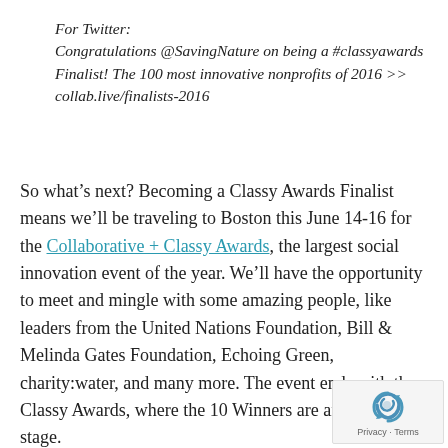For Twitter:
Congratulations @SavingNature on being a #classyawards Finalist! The 100 most innovative nonprofits of 2016 >> collab.live/finalists-2016
So what’s next? Becoming a Classy Awards Finalist means we’ll be traveling to Boston this June 14-16 for the Collaborative + Classy Awards, the largest social innovation event of the year. We’ll have the opportunity to meet and mingle with some amazing people, like leaders from the United Nations Foundation, Bill & Melinda Gates Foundation, Echoing Green, charity:water, and many more. The event ends with the Classy Awards, where the 10 Winners are announced on stage.